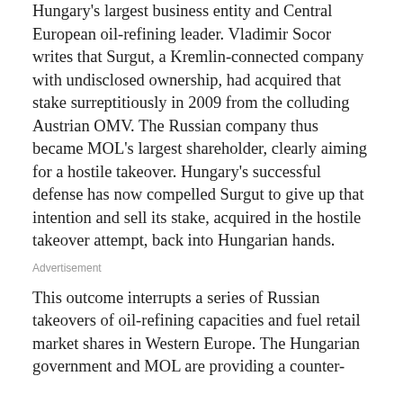Hungary's largest business entity and Central European oil-refining leader. Vladimir Socor writes that Surgut, a Kremlin-connected company with undisclosed ownership, had acquired that stake surreptitiously in 2009 from the colluding Austrian OMV. The Russian company thus became MOL's largest shareholder, clearly aiming for a hostile takeover. Hungary's successful defense has now compelled Surgut to give up that intention and sell its stake, acquired in the hostile takeover attempt, back into Hungarian hands.
Advertisement
This outcome interrupts a series of Russian takeovers of oil-refining capacities and fuel retail market shares in Western Europe. The Hungarian government and MOL are providing a counter-